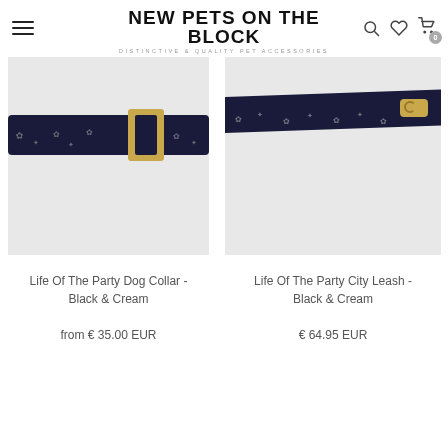NEW PETS ON THE BLOCK — DISTINCTIVE & QUALITY PET ACCESSORIES
[Figure (photo): Close-up of a dark navy/black dog collar with gold buckle hardware and cream botanical pattern]
[Figure (photo): Close-up of a dark navy/black dog leash rope with cream pattern and gold clasp hardware]
Life Of The Party Dog Collar - Black & Cream
from € 35.00 EUR
Life Of The Party City Leash - Black & Cream
€ 64.95 EUR